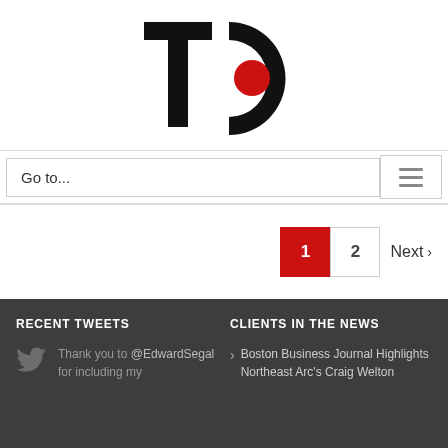[Figure (logo): TC logo with large T and C letters, red filled circle inside the C]
Go to...
1  2  Next >
RECENT TWEETS
CLIENTS IN THE NEWS
Thank you to @EdwardSegal for including my
Boston Business Journal Highlights Northeast Arc's Craig Welton